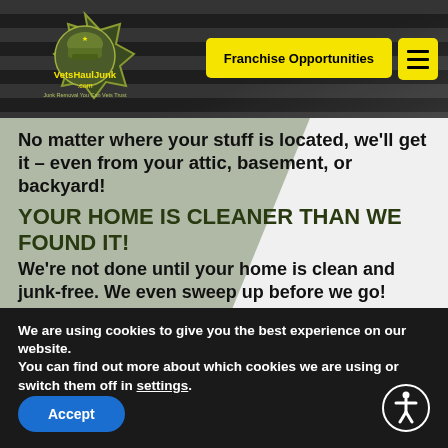[Figure (logo): VetsHaulJunk.com logo with military-themed design featuring a soldier helmet inside a star/shield, yellow and green color scheme]
Franchise Opportunities  ☰
No matter where your stuff is located, we'll get it – even from your attic, basement, or backyard!
YOUR HOME IS CLEANER THAN WE FOUND IT!
We're not done until your home is clean and junk-free. We even sweep up before we go!
We are using cookies to give you the best experience on our website.
You can find out more about which cookies we are using or switch them off in settings.
Accept